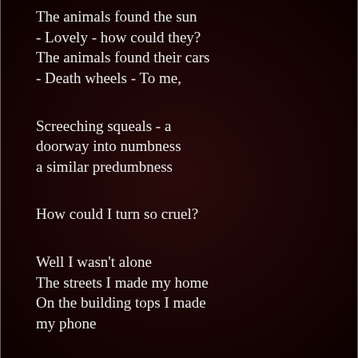The animals found the sun
- Lovely - how could they?
The animals found their cars
- Death wheels - To me,

Screeching squeals - a
doorway into numbness
a similar predumbness

How could I turn so cruel?

Well I wasn't alone
The streets I made my home
On the building tops I made
my phone

I spoke to him